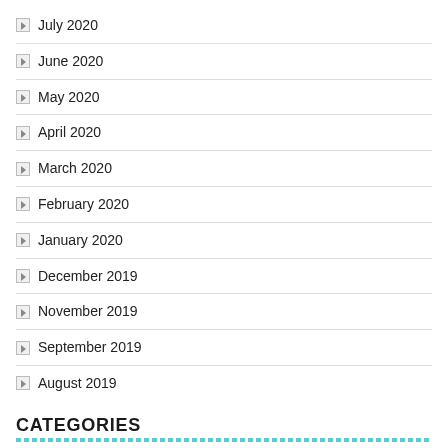July 2020
June 2020
May 2020
April 2020
March 2020
February 2020
January 2020
December 2019
November 2019
September 2019
August 2019
CATEGORIES
Graphic Design
Investing